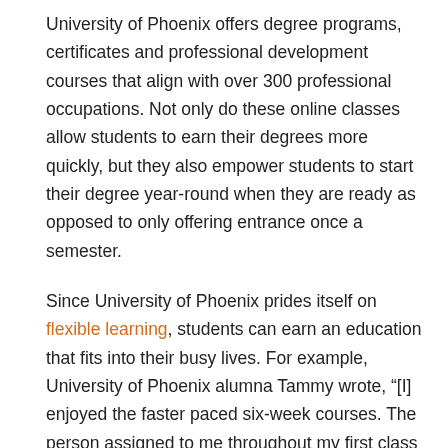University of Phoenix offers degree programs, certificates and professional development courses that align with over 300 professional occupations. Not only do these online classes allow students to earn their degrees more quickly, but they also empower students to start their degree year-round when they are ready as opposed to only offering entrance once a semester.
Since University of Phoenix prides itself on flexible learning, students can earn an education that fits into their busy lives. For example, University of Phoenix alumna Tammy wrote, “[I] enjoyed the faster paced six-week courses. The person assigned to me throughout my first class was awesome and made sure I was handling everything well.” In addition, when commenting on the staff as a whole, Tammy noted that the University’s “instructors were all understanding, challenging